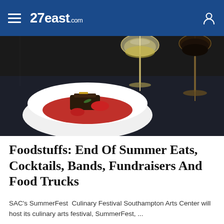27east.com
[Figure (photo): Dark overhead food photo showing a white bowl with a chocolate dessert and red berry sauce, alongside two stemmed glasses — one with white wine and one with dark liquid, on a dark background.]
Foodstuffs: End Of Summer Eats, Cocktails, Bands, Fundraisers And Food Trucks
SAC's SummerFest  Culinary Festival Southampton Arts Center will host its culinary arts festival, SummerFest, ...
22 Aug 2022 by Staff Writer